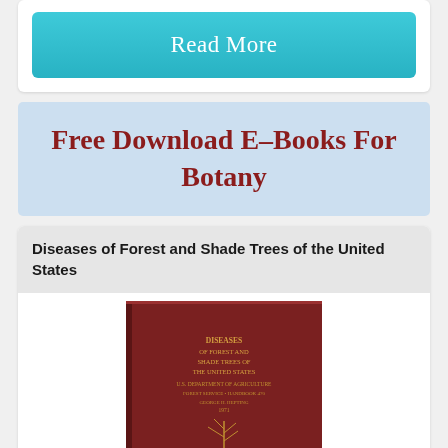Read More
Free Download E-Books For Botany
Diseases of Forest and Shade Trees of the United States
[Figure (photo): Book cover of 'Diseases of Forest and Shade Trees of the United States', dark red/maroon hardcover with gold text and a tree illustration]